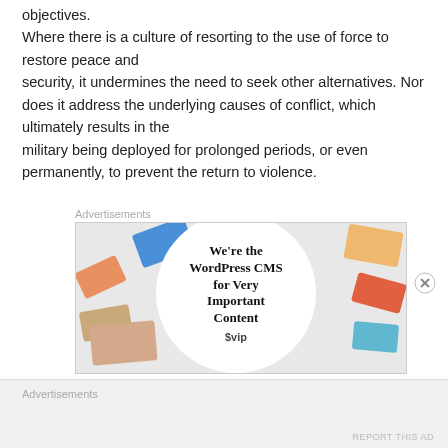objectives. Where there is a culture of resorting to the use of force to restore peace and security, it undermines the need to seek other alternatives. Nor does it address the underlying causes of conflict, which ultimately results in the military being deployed for prolonged periods, or even permanently, to prevent the return to violence.
Advertisements
[Figure (photo): WordPress VIP advertisement showing colorful social media and tech brand tiles in the background with a white circle overlay containing bold text: 'We're the WordPress CMS for Very Important Content' and the WordPress VIP logo.]
Advertisements